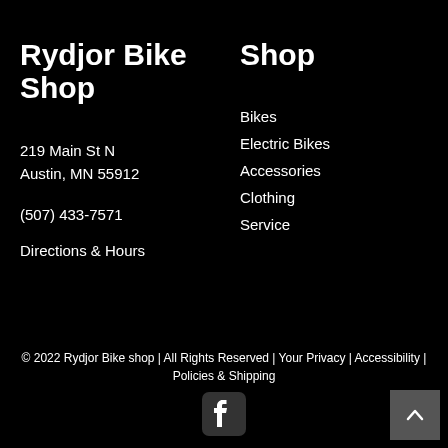Rydjor Bike Shop
219 Main St N
Austin, MN 55912
(507) 433-7571
Directions & Hours
Shop
Bikes
Electric Bikes
Accessories
Clothing
Service
© 2022 Rydjor Bike shop | All Rights Reserved | Your Privacy | Accessibility | Policies & Shipping
[Figure (logo): Facebook logo icon in white on dark background]
[Figure (other): Scroll to top button with upward caret arrow on dark grey background]